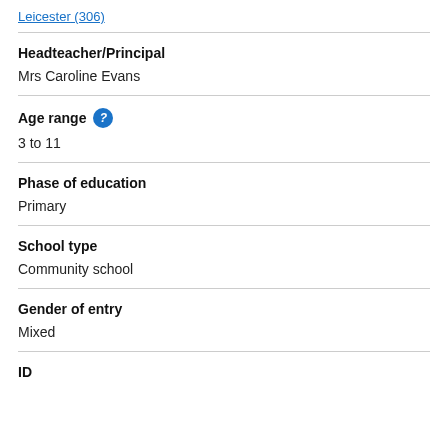Leicester (306)
Headteacher/Principal
Mrs Caroline Evans
Age range
3 to 11
Phase of education
Primary
School type
Community school
Gender of entry
Mixed
ID